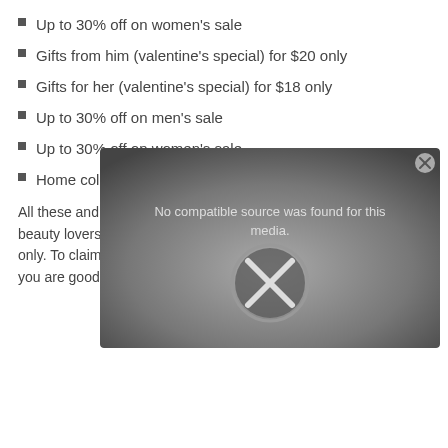Up to 30% off on women's sale
Gifts from him (valentine's special) for $20 only
Gifts for her (valentine's special) for $18 only
Up to 30% off on men's sale
Up to 30% off on women's sale
Home collection from $48
All these and more for student beauty lovers for a limited time only. To claim this amazing offer you are good to go.
[Figure (screenshot): Video player error overlay showing 'No compatible source was found for this media.' with a circular X icon on a dark grey gradient background, with a close button in the top right corner.]